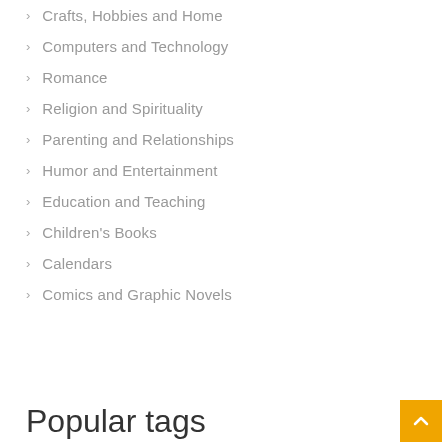Crafts, Hobbies and Home
Computers and Technology
Romance
Religion and Spirituality
Parenting and Relationships
Humor and Entertainment
Education and Teaching
Children's Books
Calendars
Comics and Graphic Novels
Popular tags